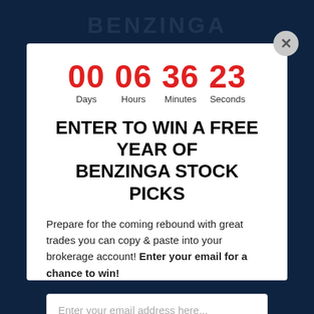[Figure (screenshot): Countdown timer showing 00 Days, 06 Hours, 36 Minutes, 23 Seconds in red digits]
ENTER TO WIN A FREE YEAR OF BENZINGA STOCK PICKS
Prepare for the coming rebound with great trades you can copy & paste into your brokerage account! Enter your email for a chance to win!
Enter your email address here...
PUT ME IN THE DRAWING NOW